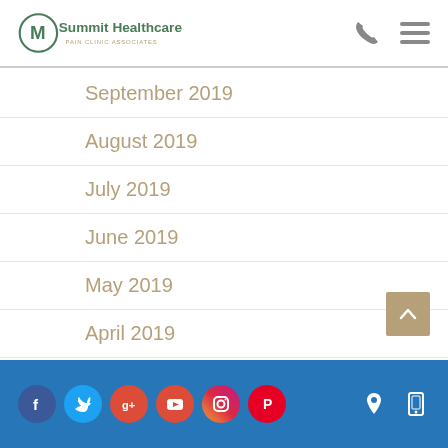Summit Healthcare Pain Clinic Associates
September 2019
August 2019
July 2019
June 2019
May 2019
April 2019
March 2019
February 2019
January 2019
Social media links and contact icons